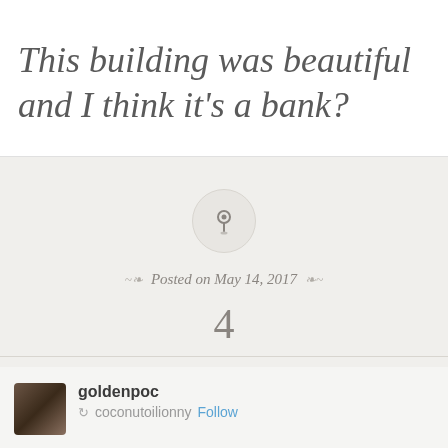This building was beautiful and I think it's a bank?
[Figure (other): Pin/pushpin icon inside a light circle, representing a pinned post on a blog platform]
Posted on May 14, 2017
4
goldenpoc
coconutoilionny Follow